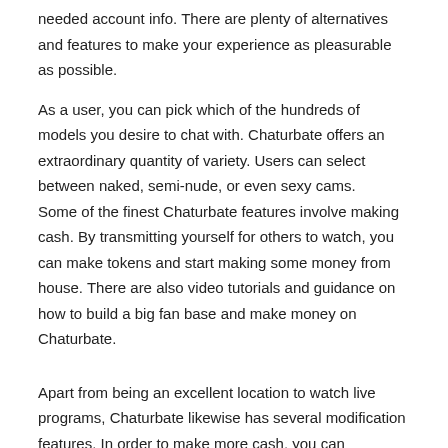needed account info. There are plenty of alternatives and features to make your experience as pleasurable as possible.
As a user, you can pick which of the hundreds of models you desire to chat with. Chaturbate offers an extraordinary quantity of variety. Users can select between naked, semi-nude, or even sexy cams.
Some of the finest Chaturbate features involve making cash. By transmitting yourself for others to watch, you can make tokens and start making some money from house. There are also video tutorials and guidance on how to build a big fan base and make money on Chaturbate.
Apart from being an excellent location to watch live programs, Chaturbate likewise has several modification features. In order to make more cash, you can personalize your profile. There are some functions that will make your experience more satisfying.